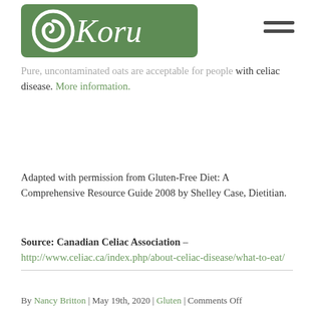[Figure (logo): Koru logo — white script text on green rounded rectangle background]
Pure, uncontaminated oats are acceptable for people with celiac disease. More information.
Adapted with permission from Gluten-Free Diet: A Comprehensive Resource Guide 2008 by Shelley Case, Dietitian.
Source: Canadian Celiac Association – http://www.celiac.ca/index.php/about-celiac-disease/what-to-eat/
By Nancy Britton | May 19th, 2020 | Gluten | Comments Off